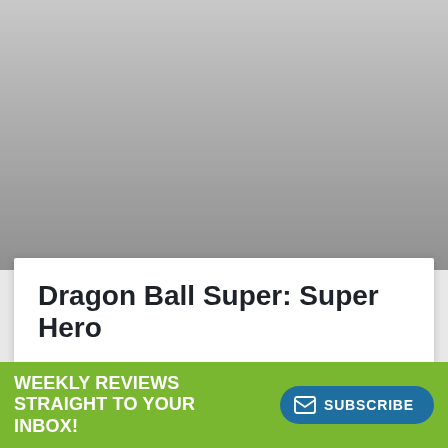[Figure (photo): Gray gradient placeholder image area at the top of the page]
Dragon Ball Super: Super Hero
READ REVIEW »
WEEKLY REVIEWS STRAIGHT TO YOUR INBOX!
SUBSCRIBE